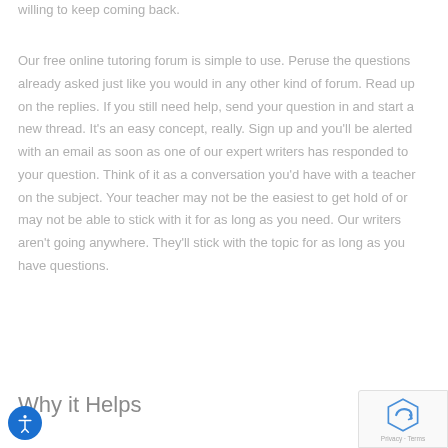willing to keep coming back.
Our free online tutoring forum is simple to use. Peruse the questions already asked just like you would in any other kind of forum. Read up on the replies. If you still need help, send your question in and start a new thread. It's an easy concept, really. Sign up and you'll be alerted with an email as soon as one of our expert writers has responded to your question. Think of it as a conversation you'd have with a teacher on the subject. Your teacher may not be the easiest to get hold of or may not be able to stick with it for as long as you need. Our writers aren't going anywhere. They'll stick with the topic for as long as you have questions.
Why it Helps